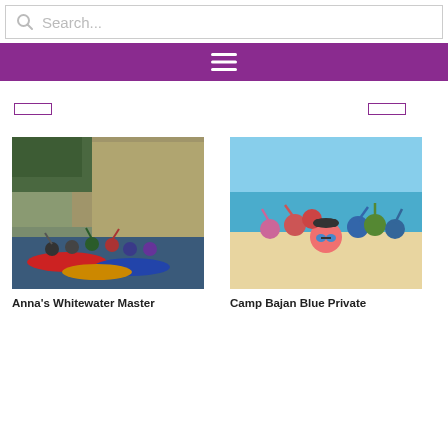[Figure (screenshot): Search bar with magnifying glass icon and placeholder text 'Search...']
[Figure (screenshot): Purple navigation bar with hamburger menu icon (three horizontal lines)]
[Figure (screenshot): Two outline button placeholders with purple borders side by side]
[Figure (photo): Group of people in kayaks on water near rocky cliff, wearing helmets and life vests, waving at camera]
[Figure (photo): Group of women on a sandy beach with turquoise water, taking a selfie with arms raised]
Anna's Whitewater Master
Camp Bajan Blue Private